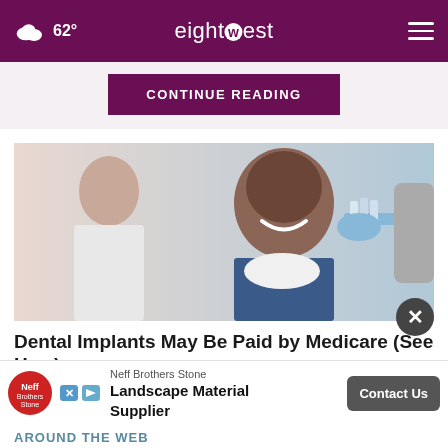62° eight west
CONTINUE READING
[Figure (photo): A smiling man in a dental chair with a dentist in white coat holding a tooth shade guide next to his face, wearing blue gloves.]
Dental Implants May Be Paid by Medicare (See How)
Ad by Implants | Sponsored Links
Neff Brothers Stone
Landscape Material Supplier
Contact Us
AROUND THE WEB